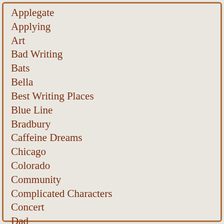Applegate
Applying
Art
Bad Writing
Bats
Bella
Best Writing Places
Blue Line
Bradbury
Caffeine Dreams
Chicago
Colorado
Community
Complicated Characters
Concert
Dad
Day Job
Dead Poets Society
Death